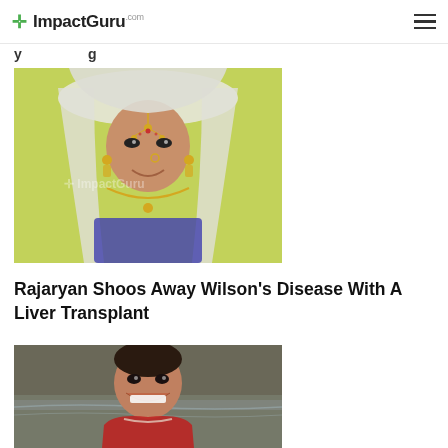ImpactGuru
[Figure (photo): Photo of a young girl dressed in traditional Indian attire with a white dupatta, gold jewelry, and nose ring, smiling against a yellow-green background. ImpactGuru watermark visible.]
Rajaryan Shoos Away Wilson’s Disease With A Liver Transplant
[Figure (photo): Photo of a young smiling boy in a red jacket, outdoors near water.]